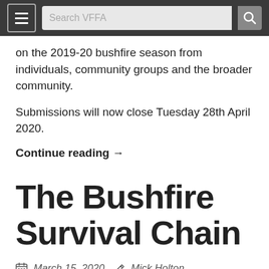Search VFFA
on the 2019-20 bushfire season from individuals, community groups and the broader community.
Submissions will now close Tuesday 28th April 2020.
Continue reading →
The Bushfire Survival Chain
March 15, 2020   Mick Holton